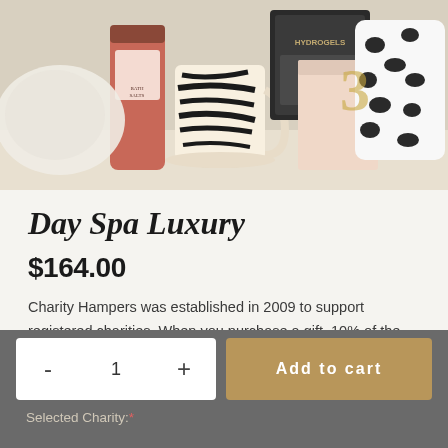[Figure (photo): Product photo showing spa gift hamper items including bath salts, zebra-print mug with saucer, hydrogels packaging, pink box, and leopard-print pouch on a marble surface.]
Day Spa Luxury
$164.00
Charity Hampers was established in 2009 to support registered charities. When you purchase a gift, 10% of the gift value ex-GST will be donated to your selected charity (see below).
In stock
1  ADD A LITTLE SOMETHING EXTRA
- 1 +
Add to cart
Selected Charity: